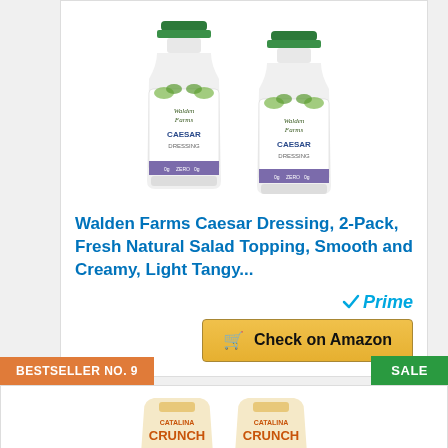[Figure (photo): Two bottles of Walden Farms Caesar Dressing with green caps]
Walden Farms Caesar Dressing, 2-Pack, Fresh Natural Salad Topping, Smooth and Creamy, Light Tangy...
[Figure (logo): Amazon Prime logo with checkmark]
Check on Amazon
BESTSELLER NO. 9
SALE
[Figure (photo): Two bags of Catalina Crunch cereal]